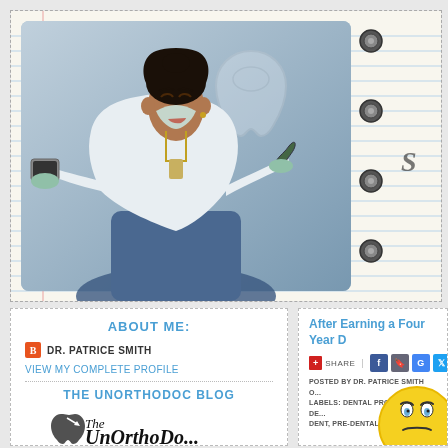[Figure (illustration): Top banner image: illustration of a Black female dentist in white coat and green gloves holding dental tools, with a tooth diagram in background on left half; right half shows a spiral notebook with horizontal lined pages and metal spiral binding rings]
ABOUT ME:
DR. PATRICE SMITH
VIEW MY COMPLETE PROFILE
THE UNORTHODOC BLOG
[Figure (logo): The UnOrthoDoc blog cursive logo text]
After Earning a Four Year D
+SHARE | [social icons: Facebook, bookmark, G, Twitter]
POSTED BY DR. PATRICE SMITH O... LABELS: DENTAL PROFESSION, DE... DENT, PRE-DENTAL / LEAVE A CO...
[Figure (illustration): Yellow emoji face with worried/uneasy expression (pac-man style) in bottom right corner]